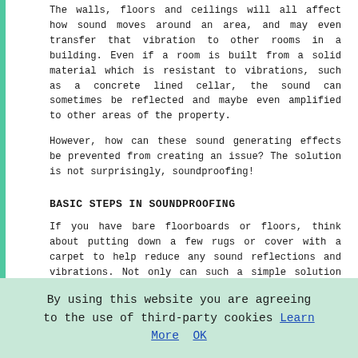The walls, floors and ceilings will all affect how sound moves around an area, and may even transfer that vibration to other rooms in a building. Even if a room is built from a solid material which is resistant to vibrations, such as a concrete lined cellar, the sound can sometimes be reflected and maybe even amplified to other areas of the property.
However, how can these sound generating effects be prevented from creating an issue? The solution is not surprisingly, soundproofing!
BASIC STEPS IN SOUNDPROOFING
If you have bare floorboards or floors, think about putting down a few rugs or cover with a carpet to help reduce any sound reflections and vibrations. Not only can such a simple solution help to reduce your noise pollution problem, but it can also brighten up the room. Hanging wall coverings and curtains can also avoid sound reflections and vibrations through windows and walls without the need to bring in a professional team of soundproofing specialists.
Search for
[Figure (photo): A partial image showing what appears to be architectural or building plans/documents]
By using this website you are agreeing to the use of third-party cookies Learn More OK